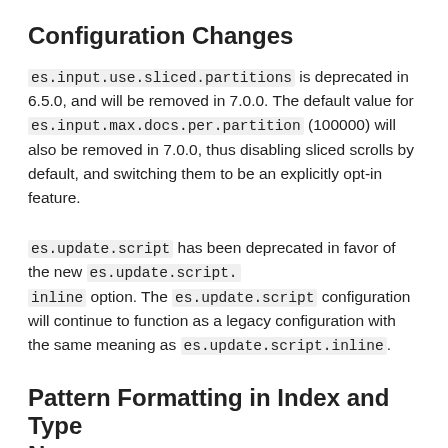Configuration Changes
es.input.use.sliced.partitions is deprecated in 6.5.0, and will be removed in 7.0.0. The default value for es.input.max.docs.per.partition (100000) will also be removed in 7.0.0, thus disabling sliced scrolls by default, and switching them to be an explicitly opt-in feature.
es.update.script has been deprecated in favor of the new es.update.script.inline option. The es.update.script configuration will continue to function as a legacy configuration with the same meaning as es.update.script.inline.
Pattern Formatting in Index and Type Names
Coming soon in 6.0 is the removal of multiple types per